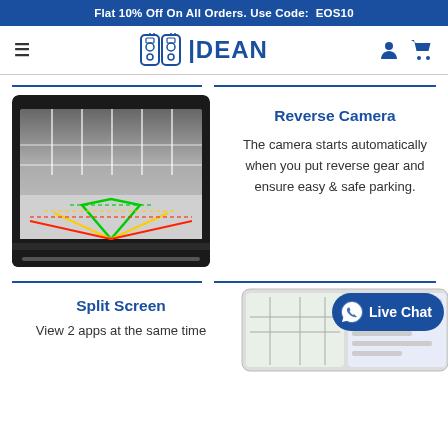Flat 10% Off On All Orders. Use Code: EOS10
[Figure (logo): Dean car audio brand logo with speaker icons and text DEAN in blue]
[Figure (photo): Reverse camera view on car infotainment screen showing parking guide lines in red, yellow and green]
Reverse Camera
The camera starts automatically when you put reverse gear and ensure easy & safe parking.
Split Screen
View 2 apps at the same time
[Figure (screenshot): Smartphone showing split screen app display]
[Figure (other): Live Chat button with WhatsApp-style icon]